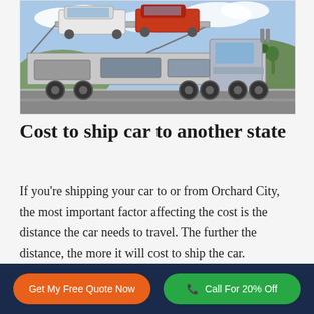[Figure (photo): A car carrier truck loaded with multiple vehicles including a white SUV on top and a red vehicle, driving on a highway with trees and mountains in the background under a cloudy sky.]
Cost to ship car to another state
If you're shipping your car to or from Orchard City, the most important factor affecting the cost is the distance the car needs to travel. The further the distance, the more it will cost to ship the car.
Get My Free Quote Now | Call For 20% Off